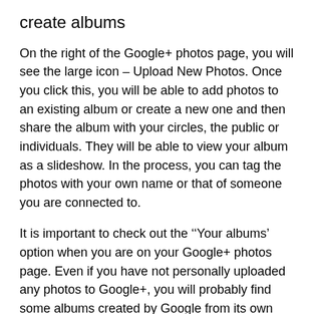create albums
On the right of the Google+ photos page, you will see the large icon – Upload New Photos.  Once you click this, you will be able to add photos to an existing album or create a new one and then share the album with your circles, the public or individuals.   They will be able to view your album as a slideshow.  In the process, you can tag the photos with your own name or that of someone you are connected to.
It is important to check out the ''Your albums' option when you are on your Google+ photos page.  Even if you have not personally uploaded any photos to Google+, you will probably find some albums created by Google from its own index (as I have mentioned before, Google is watching you!).  I checked out the 'Your albums' page on my Google+ account and discovered I had 11 albums, some of which I did not want and others which needed a